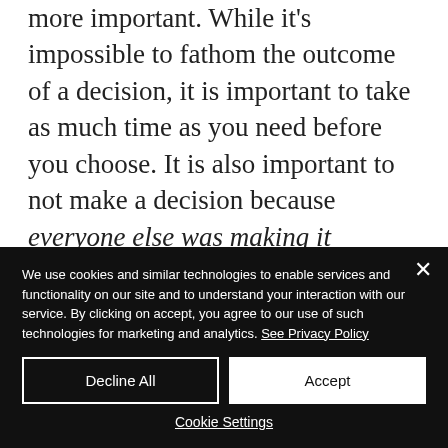more important. While it's impossible to fathom the outcome of a decision, it is important to take as much time as you need before you choose. It is also important to not make a decision because everyone else was making it because no one else's actions should decide the course of your life. If you don't respect that, no one else will.
We use cookies and similar technologies to enable services and functionality on our site and to understand your interaction with our service. By clicking on accept, you agree to our use of such technologies for marketing and analytics. See Privacy Policy
Decline All
Accept
Cookie Settings